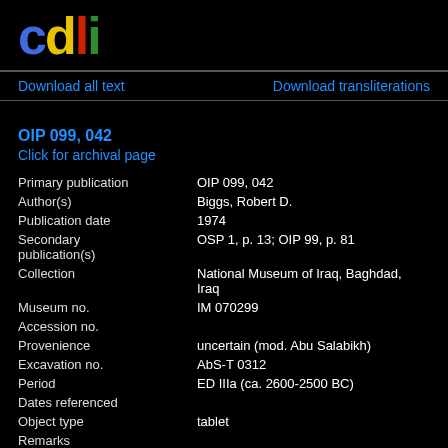[Figure (logo): CDLI logo with colored letters: c (blue), d (yellow), l (red), i (green)]
Download all text    Download transliterations
OIP 099, 042
Click for archival page
| Field | Value |
| --- | --- |
| Primary publication | OIP 099, 042 |
| Author(s) | Biggs, Robert D. |
| Publication date | 1974 |
| Secondary publication(s) | OSP 1, p. 13; OIP 99, p. 81 |
| Collection | National Museum of Iraq, Baghdad, Iraq |
| Museum no. | IM 070299 |
| Accession no. |  |
| Provenience | uncertain (mod. Abu Salabikh) |
| Excavation no. | AbS-T 0312 |
| Period | ED IIIa (ca. 2600-2500 BC) |
| Dates referenced |  |
| Object type | tablet |
| Remarks |  |
| Material | clay |
| Language |  |